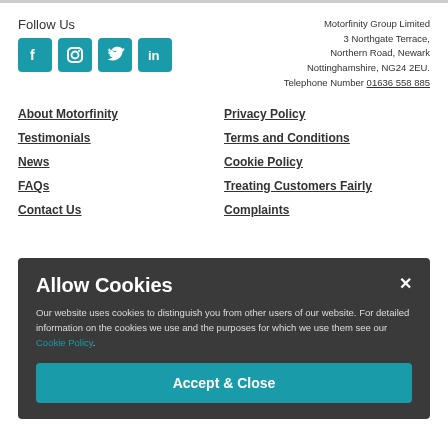Follow Us
[Figure (other): Social media icons: Facebook, Instagram, Twitter, LinkedIn in teal square buttons]
Motorfinity Group Limited
3 Northgate Terrace,
Northern Road, Newark
Nottinghamshire, NG24 2EU.
Telephone Number 01636 558 885
About Motorfinity
Privacy Policy
Testimonials
Terms and Conditions
News
Cookie Policy
FAQs
Treating Customers Fairly
Contact Us
Complaints
Allow Cookies
Our website uses cookies to distinguish you from other users of our website. For detailed information on the cookies we use and the purposes for which we use them see our Cookie Policy.
Accept & Close